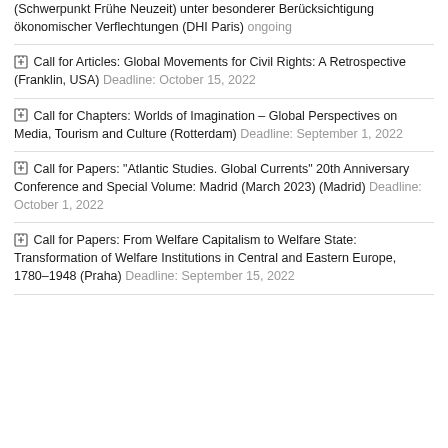(Schwerpunkt Frühe Neuzeit) unter besonderer Berücksichtigung ökonomischer Verflechtungen (DHI Paris) ongoing
Call for Articles: Global Movements for Civil Rights: A Retrospective (Franklin, USA) Deadline: October 15, 2022
Call for Chapters: Worlds of Imagination – Global Perspectives on Media, Tourism and Culture (Rotterdam) Deadline: September 1, 2022
Call for Papers: "Atlantic Studies. Global Currents" 20th Anniversary Conference and Special Volume: Madrid (March 2023) (Madrid) Deadline: October 1, 2022
Call for Papers: From Welfare Capitalism to Welfare State: Transformation of Welfare Institutions in Central and Eastern Europe, 1780–1948 (Praha) Deadline: September 15, 2022